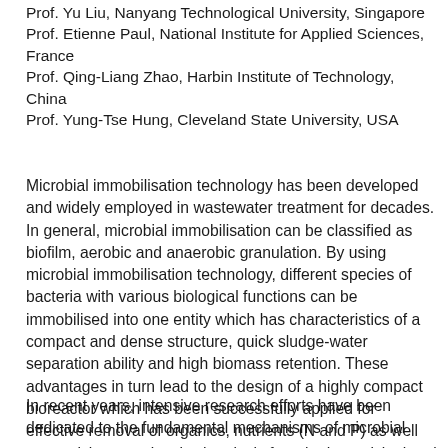Prof. Yu Liu, Nanyang Technological University, Singapore
Prof. Etienne Paul, National Institute for Applied Sciences, France
Prof. Qing-Liang Zhao, Harbin Institute of Technology, China
Prof. Yung-Tse Hung, Cleveland State University, USA
Microbial immobilisation technology has been developed and widely employed in wastewater treatment for decades. In general, microbial immobilisation can be classified as biofilm, aerobic and anaerobic granulation. By using microbial immobilisation technology, different species of bacteria with various biological functions can be immobilised into one entity which has characteristics of a compact and dense structure, quick sludge-water separation ability and high biomass retention. These advantages in turn lead to the design of a highly compact bioreactor which has been successfully applied for effective removal of organics, nutrients (N and P) as well as recalcitrant and toxic chemicals from both municipal and industrial wastewater.
In recent years, intensive research efforts have been dedicated to the fundamental mechanisms of microbial